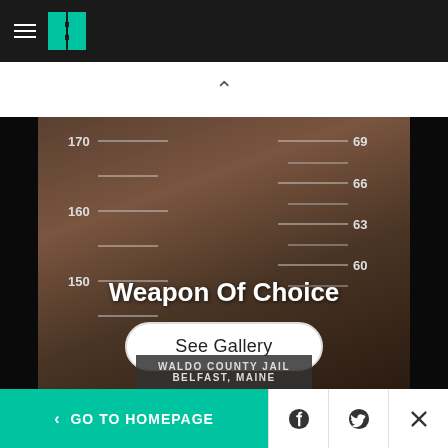HuffPost navigation header with hamburger menu and logo
[Figure (photo): Mugshot of a young woman with glasses and long reddish-brown hair, holding a booking sign, standing against a height measurement ruler. Text 'Waldo County Jail, Belfast, Maine' visible at bottom. Overlay text reads 'Weapon Of Choice' with a 'See Gallery' button.]
< GO TO HOMEPAGE | Facebook share | Twitter share | Close (X)